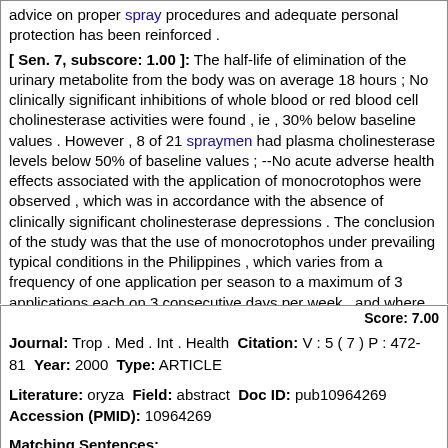advice on proper spray procedures and adequate personal protection has been reinforced . [ Sen. 7, subscore: 1.00 ]: The half-life of elimination of the urinary metabolite from the body was on average 18 hours ; No clinically significant inhibitions of whole blood or red blood cell cholinesterase activities were found , ie , 30% below baseline values . However , 8 of 21 spraymen had plasma cholinesterase levels below 50% of baseline values ; --No acute adverse health effects associated with the application of monocrotophos were observed , which was in accordance with the absence of clinically significant cholinesterase depressions . The conclusion of the study was that the use of monocrotophos under prevailing typical conditions in the Philippines , which varies from a frequency of one application per season to a maximum of 3 applications each on 3 consecutive days per week , and where label safety instructions are not necessarily observed , is not expected to pose an acute health risk under the prevailing conditions and practices , which includes filling , spraying and cleaning activities . From the experience in this study it is clear that proper spraying technique and adequate use of personal protection will significantly reduce exposure . As such a reduction is highly recommendable , advice on proper spray procedures and adequate personal protection has been reinforced .
Score: 7.00
Journal: Trop . Med . Int . Health Citation: V : 5 ( 7 ) P : 472-81 Year: 2000 Type: ARTICLE
Literature: oryza Field: abstract Doc ID: pub10964269 Accession (PMID): 10964269
Matching Sentences:
[ Sen. 1, subscore: 1.00 ]: We conducted a community-randomized